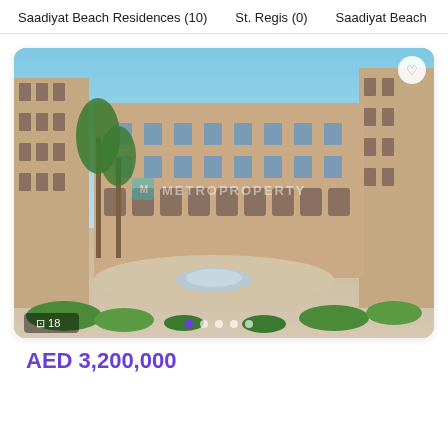Saadiyat Beach Residences (10)    St. Regis (0)    Saadiyat Beach
[Figure (photo): Exterior photo of a luxury residential complex with Middle Eastern architecture, palm trees, and a central courtyard with fountain. Watermark 'METROPROPERTY' visible. Image counter shows 18 photos, with pagination dots at the bottom.]
AED 3,200,000